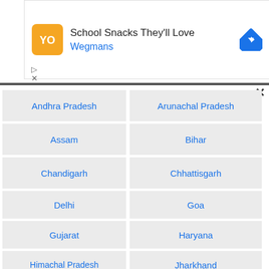[Figure (screenshot): Advertisement banner for Wegmans: School Snacks They'll Love]
Andhra Pradesh
Arunachal Pradesh
Assam
Bihar
Chandigarh
Chhattisgarh
Delhi
Goa
Gujarat
Haryana
Himachal Pradesh
Jharkhand
Karnataka
Kerala